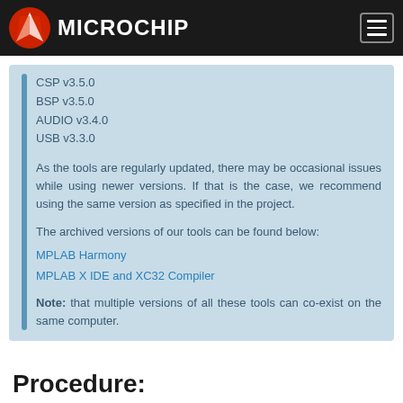Microchip
CSP v3.5.0
BSP v3.5.0
AUDIO v3.4.0
USB v3.3.0
As the tools are regularly updated, there may be occasional issues while using newer versions. If that is the case, we recommend using the same version as specified in the project.
The archived versions of our tools can be found below:
MPLAB Harmony
MPLAB X IDE and XC32 Compiler
Note: that multiple versions of all these tools can co-exist on the same computer.
Procedure: